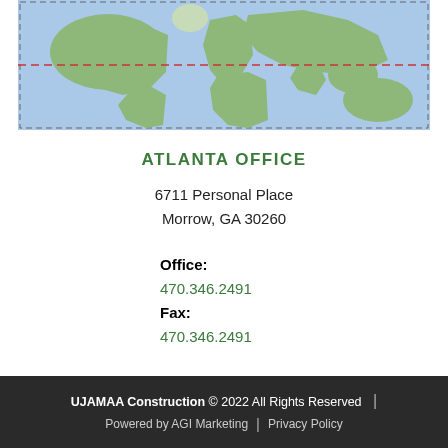[Figure (map): World map showing geographic regions with blue ocean background, green landmasses, dashed border lines, and a horizontal dashed red line across the middle indicating a latitude line.]
ATLANTA OFFICE
6711 Personal Place
Morrow, GA 30260
Office:
470.346.2491
Fax:
470.346.2491
UJAMAA Construction © 2022 All Rights Reserved | Powered by AGI Marketing | Privacy Policy